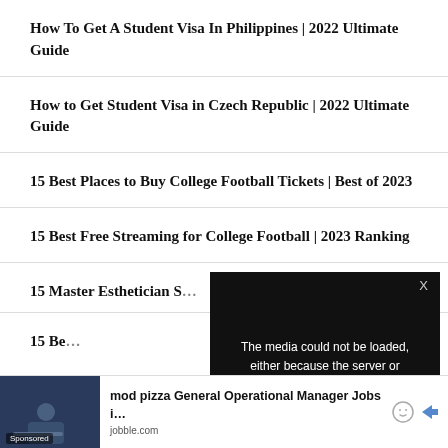How To Get A Student Visa In Philippines | 2022 Ultimate Guide
How to Get Student Visa in Czech Republic | 2022 Ultimate Guide
15 Best Places to Buy College Football Tickets | Best of 2023
15 Best Free Streaming for College Football | 2023 Ranking
15 Master Esthetician S…
15 Be… Esthetician S…
[Figure (screenshot): Video player error overlay: 'The media could not be loaded, either because the server or network failed or because the format is not supported.' with X close button]
[Figure (screenshot): Advertisement: mod pizza General Operational Manager Jobs i… from jobble.com with Sponsored label]